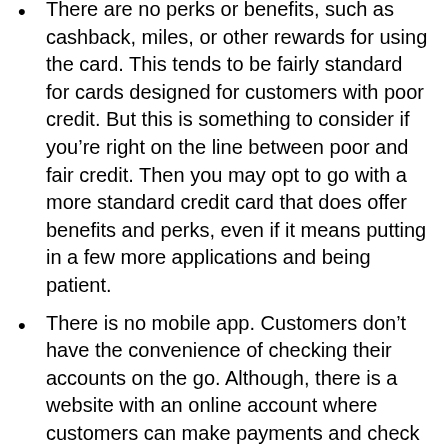There are no perks or benefits, such as cashback, miles, or other rewards for using the card. This tends to be fairly standard for cards designed for customers with poor credit. But this is something to consider if you're right on the line between poor and fair credit. Then you may opt to go with a more standard credit card that does offer benefits and perks, even if it means putting in a few more applications and being patient.
There is no mobile app. Customers don't have the convenience of checking their accounts on the go. Although, there is a website with an online account where customers can make payments and check account activity.
Milestone Gold Credit Card does not offer balance transfers. This means it won't be possible to close out any existing cards and consolidate the balance with the Milestone Gold Card.